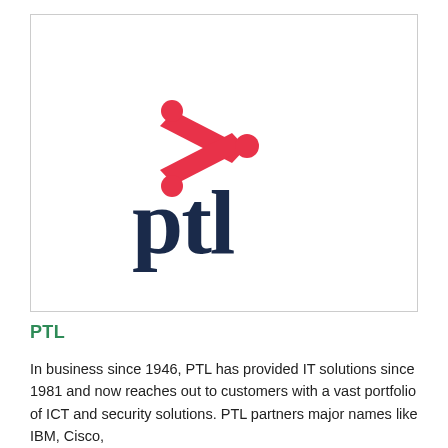[Figure (logo): PTL company logo: a red chevron/greater-than symbol above bold dark navy lowercase text 'ptl']
PTL
In business since 1946, PTL has provided IT solutions since 1981 and now reaches out to customers with a vast portfolio of ICT and security solutions. PTL partners major names like IBM, Cisco,